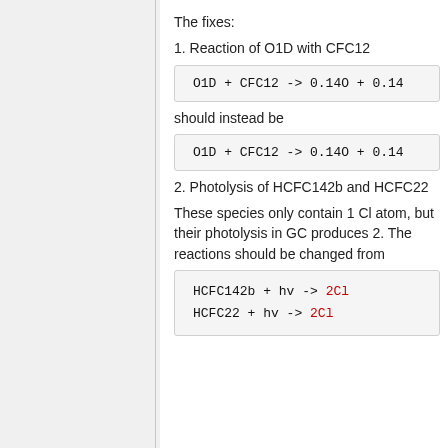The fixes:
1. Reaction of O1D with CFC12
should instead be
2. Photolysis of HCFC142b and HCFC22
These species only contain 1 Cl atom, but their photolysis in GC produces 2. The reactions should be changed from